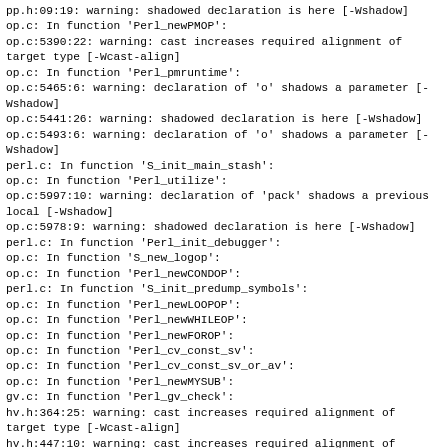pp.h:09:19: warning: shadowed declaration is here [-Wshadow]
op.c: In function 'Perl_newPMOP':
op.c:5390:22: warning: cast increases required alignment of target type [-Wcast-align]
op.c: In function 'Perl_pmruntime':
op.c:5465:6: warning: declaration of 'o' shadows a parameter [-Wshadow]
op.c:5441:26: warning: shadowed declaration is here [-Wshadow]
op.c:5493:6: warning: declaration of 'o' shadows a parameter [-Wshadow]
perl.c: In function 'S_init_main_stash':
op.c: In function 'Perl_utilize':
op.c:5997:10: warning: declaration of 'pack' shadows a previous local [-Wshadow]
op.c:5978:9: warning: shadowed declaration is here [-Wshadow]
perl.c: In function 'Perl_init_debugger':
op.c: In function 'S_new_logop':
op.c: In function 'Perl_newCONDOP':
perl.c: In function 'S_init_predump_symbols':
op.c: In function 'Perl_newLOOPOP':
op.c: In function 'Perl_newWHILEOP':
op.c: In function 'Perl_newFOROP':
op.c: In function 'Perl_cv_const_sv':
op.c: In function 'Perl_cv_const_sv_or_av':
op.c: In function 'Perl_newMYSUB':
gv.c: In function 'Perl_gv_check':
hv.h:364:25: warning: cast increases required alignment of target type [-Wcast-align]
hv.h:447:10: warning: cast increases required alignment of target type [-Wcast-align]
gv.c: In function 'Perl_magic_freeovrld':
gv.c:2591:24: warning: cast increases required alignment of